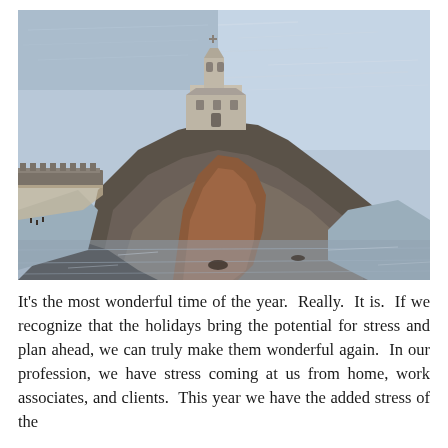[Figure (photo): Aerial photograph of a rocky coastal promontory with a historic stone church/castle building with a bell tower at its peak, surrounded by the sea on multiple sides. The rocky headland extends into shimmering water, with a stone wall/causeway on the left side.]
It's the most wonderful time of the year. Really. It is. If we recognize that the holidays bring the potential for stress and plan ahead, we can truly make them wonderful again. In our profession, we have stress coming at us from home, work associates, and clients. This year we have the added stress of the